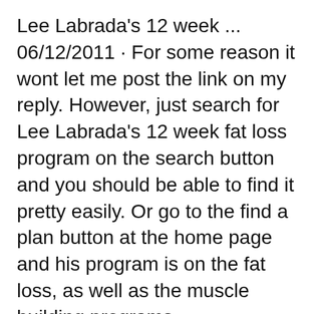Lee Labrada's 12 week ... 06/12/2011 · For some reason it wont let me post the link on my reply. However, just search for Lee Labrada's 12 week fat loss program on the search button and you should be able to find it pretty easily. Or go to the find a plan button at the home page and his program is on the fat loss, as well as the muscle building programs.
see your progress when you take your “after” pictures at the end of the 12-week program.) • Set realistic, but specific goals for the 12 weeks. • Determine how you want to measure your personal success and stick with this system for the duration of the 12